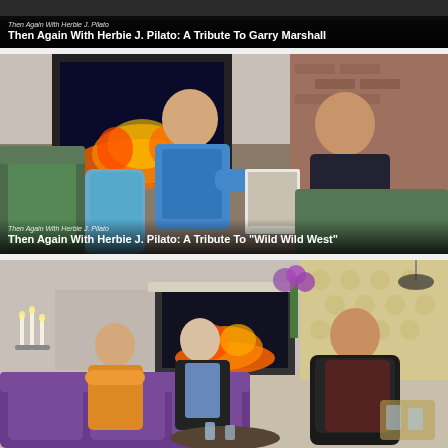[Figure (screenshot): Top banner card partially cropped showing a TV show thumbnail with dark background and title overlay: 'Then Again With Herbie J. Pilato: A Tribute To Garry Marshall']
Then Again With Herbie J. Pilato: A Tribute To Garry Marshall
[Figure (screenshot): Middle card showing two men sitting on a couch in a TV studio setting. One man in a blue shirt holds a framed photo, another in a dark suit sits opposite. Brick wall and colorful decor in background. Title overlay reads: Then Again With Herbie J. Pilato: A Tribute To 'Wild Wild West']
Then Again With Herbie J. Pilato: A Tribute To "Wild Wild West"
[Figure (screenshot): Bottom card showing three people seated in a TV studio talk show set with purple couches, a fireplace, candles, and decorative wallpaper. Two women and one man visible. Image is partially cropped at bottom.]